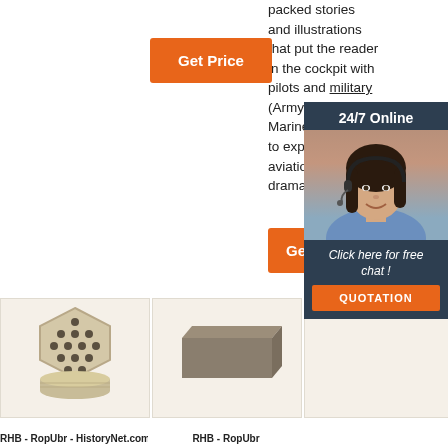packed stories and illustrations that put the reader in the cockpit with pilots and military (Army, Marine to expe aviatio drama
[Figure (illustration): Orange 'Get Price' button]
[Figure (illustration): 24/7 Online chat widget overlay with female agent wearing headset, dark navy background, 'Click here for free chat!' text, and orange QUOTATION button]
[Figure (illustration): Orange 'Get' button (partial)]
[Figure (photo): Hexagonal honeycomb ceramic refractory brick product photo]
[Figure (photo): Plain grey/brown refractory brick product photo]
[Figure (photo): Light cream colored refractory brick with orange TOP logo watermark]
RHB - RopUbr - HistoryNet.com RHB - RopUbr